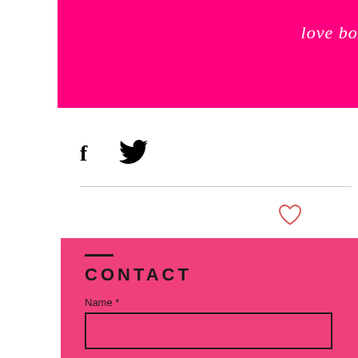love bossy mummy
[Figure (other): Facebook and Twitter social share icons in black]
[Figure (other): Heart/like icon in salmon/coral outline style]
CONTACT
Name *
Email *